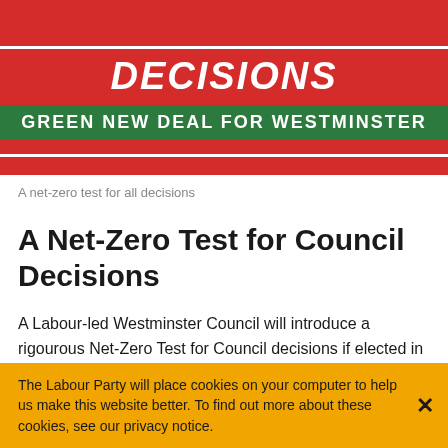[Figure (illustration): Red banner with white border containing bold italic white text 'DECISIONS' and a green rectangle with white uppercase text 'GREEN NEW DEAL FOR WESTMINSTER']
A net-zero test for all decisions
A Net-Zero Test for Council Decisions
A Labour-led Westminster Council will introduce a rigourous Net-Zero Test for Council decisions if elected in May 2022.
With world leaders currently gathered at COP26, the need
The Labour Party will place cookies on your computer to help us make this website better. To find out more about these cookies, see our privacy notice.